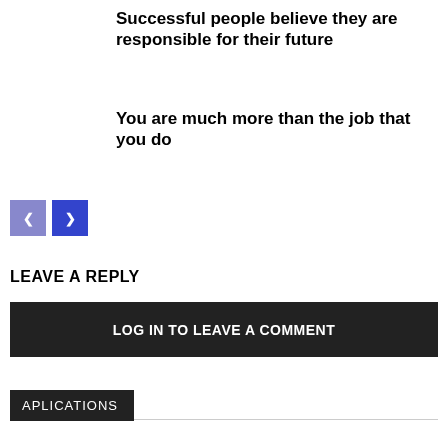Successful people believe they are responsible for their future
You are much more than the job that you do
[Figure (other): Navigation buttons: a lighter blue left arrow button and a darker blue right arrow button]
LEAVE A REPLY
LOG IN TO LEAVE A COMMENT
APLICATIONS